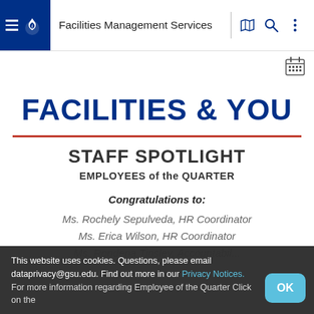Facilities Management Services
FACILITIES & YOU
STAFF SPOTLIGHT
EMPLOYEES of the QUARTER
Congratulations to:
Ms. Rochely Sepulveda,  HR Coordinator
Ms. Erica Wilson, HR Coordinator
Ms. Rondena Tinsley, Accountabil...
This website uses cookies. Questions, please email dataprivacy@gsu.edu. Find out more in our Privacy Notices. For more information regarding Employee of the Quarter Click on the